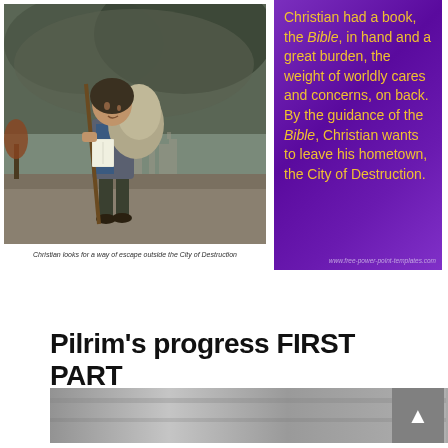[Figure (illustration): Painting of Christian (the Pilgrim) carrying a large burden on his back, holding a staff and a book (the Bible), looking upward against a dramatic sky with a city in the background.]
Christian looks for a way of escape outside the City of Destruction
[Figure (infographic): Purple gradient panel with yellow-orange text describing Christian having a Bible in hand and a great burden (weight of worldly cares and concerns) on his back, guided by the Bible he wants to leave the City of Destruction. Watermark: www.free-power-point-templates.com]
Pilrim's progress FIRST PART
[Figure (photo): Grayscale/sepia image strip at the bottom of the page, partially visible.]